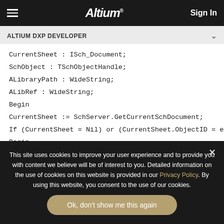Altium | Sign In
ALTIUM DXP DEVELOPER
CurrentSheet : ISch_Document;
SchObject : TSchObjectHandle;
ALibraryPath : WideString;
ALibRef : WideString;
Begin
CurrentSheet := SchServer.GetCurrentSchDocument;
If (CurrentSheet = Nil) or (CurrentSheet.ObjectID = eSchLib) Then
Begin
This site uses cookies to improve your user experience and to provide you with content we believe will be of interest to you. Detailed information on the use of cookies on this website is provided in our Privacy Policy. By using this website, you consent to the use of our cookies.

Ok, don't show me this again